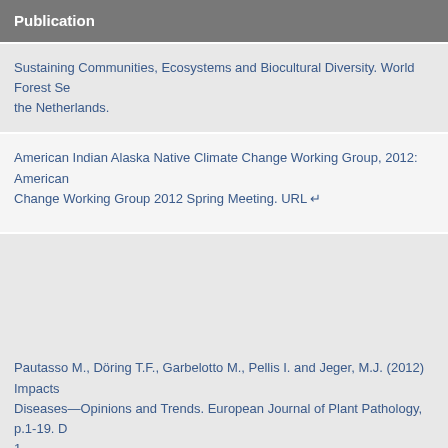Publication
Sustaining Communities, Ecosystems and Biocultural Diversity. World Forest Se... the Netherlands.
American Indian Alaska Native Climate Change Working Group, 2012: American... Change Working Group 2012 Spring Meeting. URL ↵
Pautasso M., Döring T.F., Garbelotto M., Pellis I. and Jeger, M.J. (2012) Impacts... Diseases—Opinions and Trends. European Journal of Plant Pathology, p.1-19. ... 1.